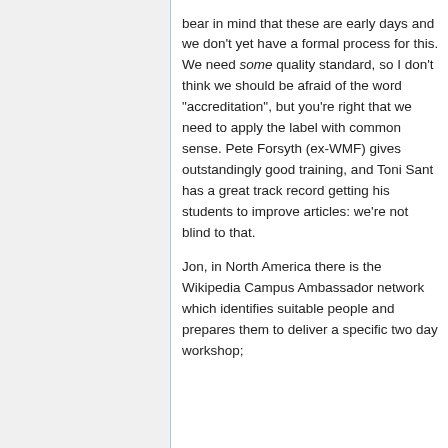bear in mind that these are early days and we don't yet have a formal process for this. We need some quality standard, so I don't think we should be afraid of the word "accreditation", but you're right that we need to apply the label with common sense. Pete Forsyth (ex-WMF) gives outstandingly good training, and Toni Sant has a great track record getting his students to improve articles: we're not blind to that.
Jon, in North America there is the Wikipedia Campus Ambassador network which identifies suitable people and prepares them to deliver a specific two day workshop;